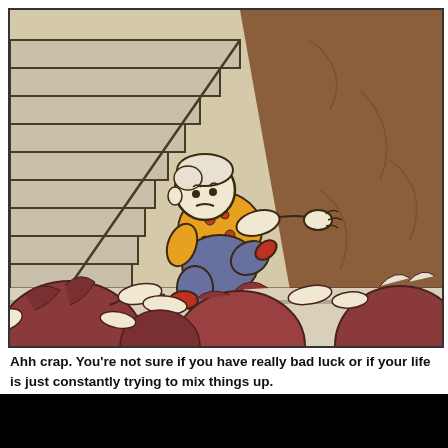[Figure (illustration): Comic panel showing a cartoon character with white/grey hair wearing an orange floral shirt and grey pants, tumbling/falling down concrete stairs. In the foreground, viewed from behind, are several auburn/reddish crowd members with arms outstretched. The background shows a brown stone wall with cracks. The staircase is grey with dark outlines.]
Ahh crap. You're not sure if you have really bad luck or if your life is just constantly trying to mix things up.
Either way, this sucks.